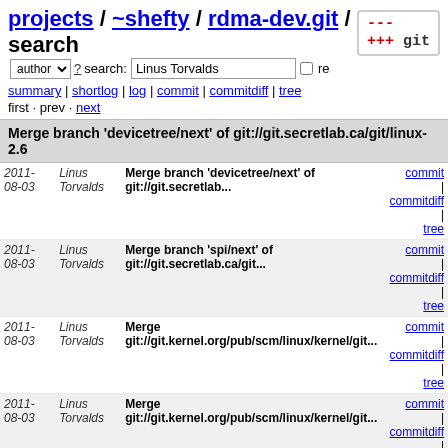projects / ~shefty / rdma-dev.git / search
author ? search: Linus Torvalds re
summary | shortlog | log | commit | commitdiff | tree
first · prev · next
Merge branch 'devicetree/next' of git://git.secretlab.ca/git/linux-2.6
| Date | Author | Message | Links |
| --- | --- | --- | --- |
| 2011-
08-03 | Linus
Torvalds | Merge branch 'devicetree/next' of git://git.secretlab... | commit | commitdiff | tree |
| 2011-
08-03 | Linus
Torvalds | Merge branch 'spi/next' of git://git.secretlab.ca/git... | commit | commitdiff | tree |
| 2011-
08-03 | Linus
Torvalds | Merge git://git.kernel.org/pub/scm/linux/kernel/git... | commit | commitdiff | tree |
| 2011-
08-03 | Linus
Torvalds | Merge git://git.kernel.org/pub/scm/linux/kernel/git... | commit | commitdiff | tree |
| 2011-
08-03 | Linus
Torvalds | Merge branch 'for-linus' of git://git.kernel.org/pub... | commit | commitdiff | tree |
| 2011-
08-02 | Linus
Torvalds | Merge branch 'for-linus' of git://git.kernel.org/pub... | commit | commitdiff | tree |
| 2011-
08-01 | Linus
Torvalds | Merge branch 'for_linus' of git://git.kernel.org/pub... | commit | commitdiff | tree |
| 2011-
08-01 | Linus
Torvalds | Merge branch 'for-linus' of git://git.kernel.org/pub... | commit | commitdiff | tree |
| 2011-
08-01 | Linus
Torvalds | Merge branch 'for-linus' of | commit | commitdiff | tree |